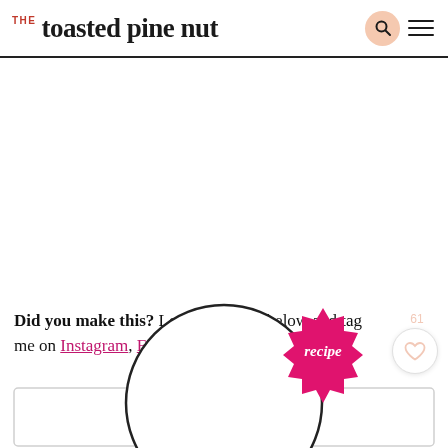THE toasted pine nut
Did you make this? Leave a review below and tag me on Instagram, Facebook, or Pinterest!
[Figure (illustration): Recipe card decoration with circle outline and a pink 'recipe' badge/seal, plus a white rounded rectangle card outline at the bottom.]